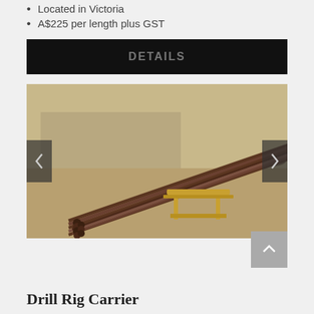Located in Victoria
A$225 per length plus GST
DETAILS
[Figure (photo): A large bundle of dark steel drill rods/pipes laid out on sandy/gravel ground outdoors, supported by yellow wooden frames/trestles. The rods extend diagonally across the image.]
Drill Rig Carrier